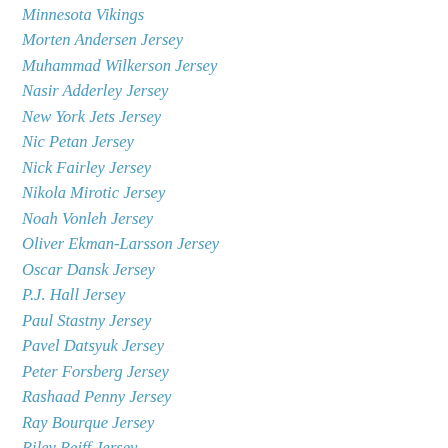Minnesota Vikings
Morten Andersen Jersey
Muhammad Wilkerson Jersey
Nasir Adderley Jersey
New York Jets Jersey
Nic Petan Jersey
Nick Fairley Jersey
Nikola Mirotic Jersey
Noah Vonleh Jersey
Oliver Ekman-Larsson Jersey
Oscar Dansk Jersey
P.J. Hall Jersey
Paul Stastny Jersey
Pavel Datsyuk Jersey
Peter Forsberg Jersey
Rashaad Penny Jersey
Ray Bourque Jersey
Riley Reiff Jersey
Robert Covington Jersey